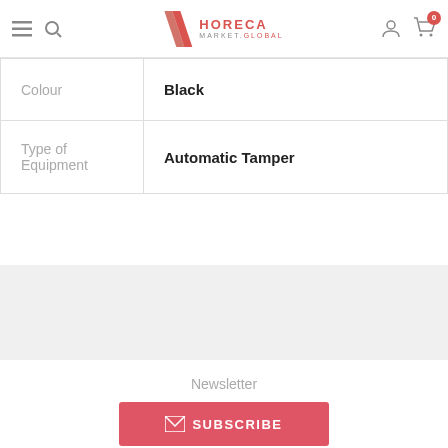HORECA MARKET.GLOBAL
| Attribute | Value |
| --- | --- |
| Colour | Black |
| Type of Equipment | Automatic Tamper |
Newsletter
SUBSCRIBE